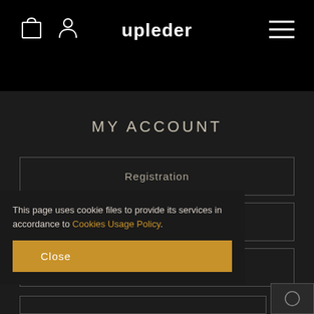upleder
MY ACCOUNT
Registration
Sign In
Shopping cart
This page uses cookie files to provide its services in accordance to Cookies Usage Policy.
Close